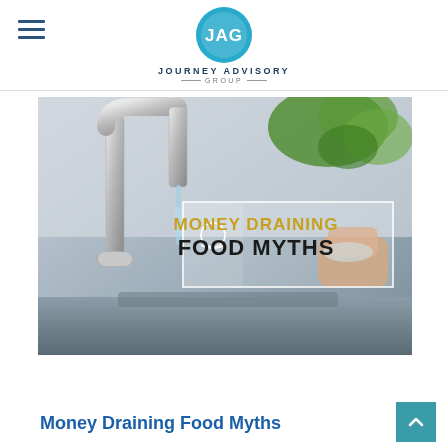Journey Advisory Group
[Figure (photo): Kitchen faucet with running water washing fresh herbs/salad greens, with overlay text reading 'MONEY DRAINING FOOD MYTHS' and a small icon of hands holding coins]
Money Draining Food Myths